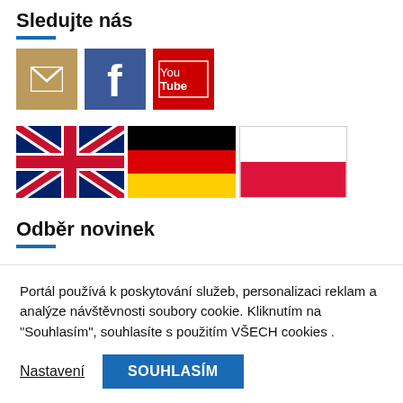Sledujte nás
[Figure (infographic): Three social media icon buttons: email (brown/tan background with envelope icon), Facebook (blue background with 'f' icon), YouTube (red background with 'You Tube' logo)]
[Figure (infographic): Three country flag images in a row: UK flag (Union Jack), German flag (black, red, gold horizontal stripes), Polish flag (white and red horizontal stripes)]
Odběr novinek
Email
Portál používá k poskytování služeb, personalizaci reklam a analýze návštěvnosti soubory cookie. Kliknutím na "Souhlasím", souhlasíte s použitím VŠECH cookies .
Nastavení
SOUHLASÍM